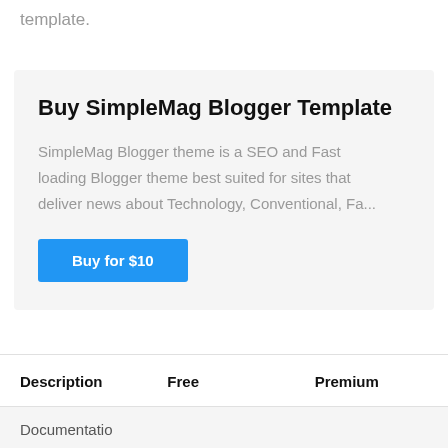template.
Buy SimpleMag Blogger Template
SimpleMag Blogger theme is a SEO and Fast loading Blogger theme best suited for sites that deliver news about Technology, Conventional, Fa...
Buy for $10
| Description | Free | Premium |
| --- | --- | --- |
| Documentatio |  |  |